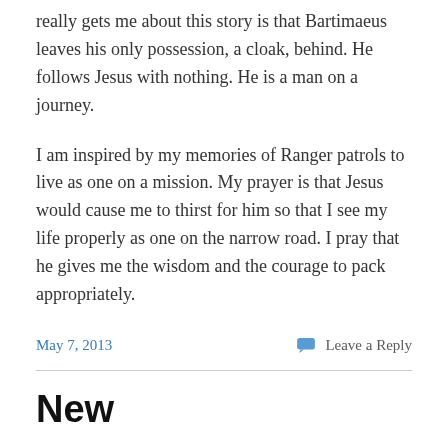really gets me about this story is that Bartimaeus leaves his only possession, a cloak, behind. He follows Jesus with nothing. He is a man on a journey.
I am inspired by my memories of Ranger patrols to live as one on a mission. My prayer is that Jesus would cause me to thirst for him so that I see my life properly as one on the narrow road. I pray that he gives me the wisdom and the courage to pack appropriately.
May 7, 2013
Leave a Reply
New
When I was a child my parents bought our first new car. I was five or six years old. I do not remember much about